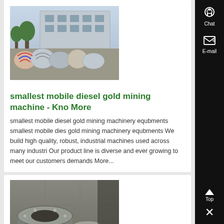[Figure (photo): Outdoor photo showing large bags/sacks of material stacked near a building]
smallest mobile diesel gold mining machine - Know More
smallest mobile diesel gold mining machinery equbments smallest mobile diesel gold mining machinery equbments We build high quality, robust, industrial machines used across many industri Our product line is diverse and ever growing to meet our customers demands More...
[Figure (photo): Photo of industrial metal parts/components on a floor, including cylindrical metal pieces]
smallest mobile diesel gold mining machinery